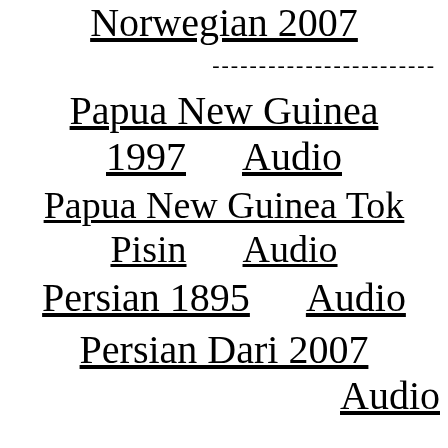Norwegian 2007
------------------------
Papua New Guinea 1997   Audio
Papua New Guinea Tok Pisin   Audio
Persian 1895   Audio
Persian Dari 2007   Audio